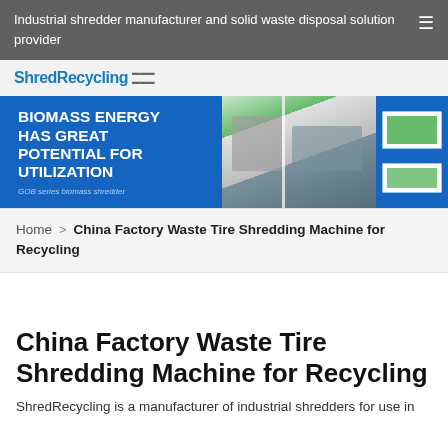Industrial shredder manufacturer and solid waste disposal solution provider
[Figure (logo): ShredRecycling logo with blue text and small subtitle]
[Figure (photo): Banner image: BIOMASS ENERGY HAS GREAT POTENTIAL FOR UTILIZATION — GOB series biomass shredder, with machinery photos on green and blue background]
Home > China Factory Waste Tire Shredding Machine for Recycling
China Factory Waste Tire Shredding Machine for Recycling
ShredRecycling is a manufacturer of industrial shredders for use in